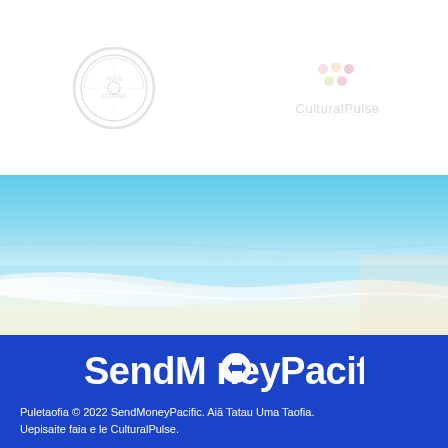[Figure (logo): Partial circular stamp/seal logo on the left side, faded/watermark style]
[Figure (logo): CulturalPulse logo with colored dots above the text, faded style]
[Figure (photo): Aerial beach photo showing turquoise ocean water meeting white sandy shore]
[Figure (logo): SendMoneyPacific logo in white text on blue background, with coin icon replacing the 'o' in Money]
Puletaofia © 2022 SendMoneyPacific. Aiā Tatau Uma Taofia. Uepisaite faia e le CulturalPulse.